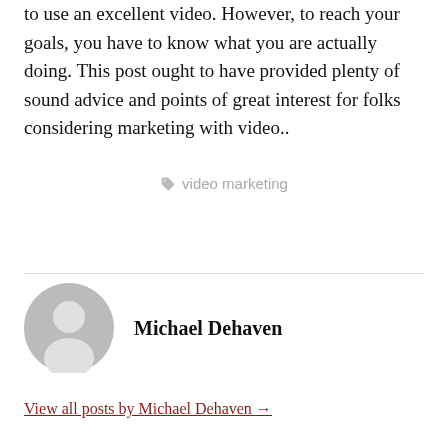to use an excellent video. However, to reach your goals, you have to know what you are actually doing. This post ought to have provided plenty of sound advice and points of great interest for folks considering marketing with video..
video marketing
Michael Dehaven
View all posts by Michael Dehaven →